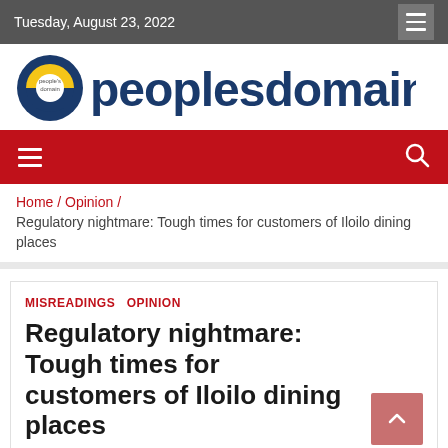Tuesday, August 23, 2022
[Figure (logo): peoplesdomain.net logo with circular blue and yellow icon on the left and bold dark blue text reading peoplesdomain.net]
[Figure (infographic): Red navigation bar with hamburger menu icon on left and search icon on right]
Home / Opinion / Regulatory nightmare: Tough times for customers of Iloilo dining places
MISREADINGS  OPINION
Regulatory nightmare: Tough times for customers of Iloilo dining places